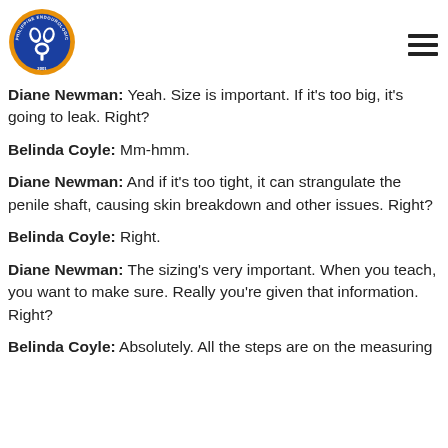Philippine Endourological Society logo and hamburger menu
Diane Newman: Yeah. Size is important. If it's too big, it's going to leak. Right?
Belinda Coyle: Mm-hmm.
Diane Newman: And if it's too tight, it can strangulate the penile shaft, causing skin breakdown and other issues. Right?
Belinda Coyle: Right.
Diane Newman: The sizing's very important. When you teach, you want to make sure. Really you're given that information. Right?
Belinda Coyle: Absolutely. All the steps are on the measuring